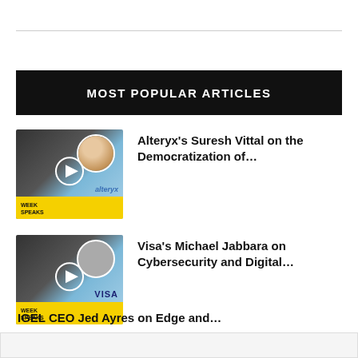MOST POPULAR ARTICLES
[Figure (photo): Thumbnail for Alteryx Suresh Vittal podcast episode with play button and Alteryx logo]
Alteryx’s Suresh Vittal on the Democratization of…
[Figure (photo): Thumbnail for Visa Michael Jabbara podcast episode with play button and VISA logo]
Visa’s Michael Jabbara on Cybersecurity and Digital…
[Figure (photo): Partial thumbnail for IGEL CEO Jed Ayres podcast episode]
IGEL CEO Jed Ayres on Edge and…